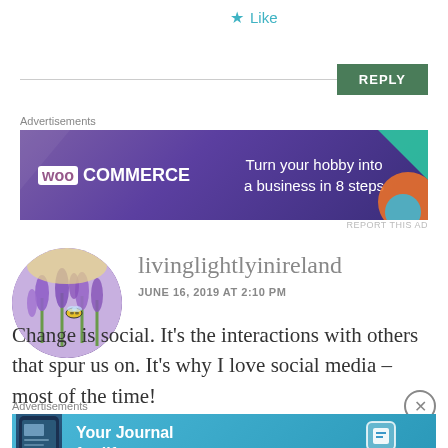[Figure (other): Like button with star icon and text 'Like']
[Figure (other): Reply button (green) with horizontal divider line]
Advertisements
[Figure (other): WooCommerce advertisement banner: 'Turn your hobby into a business in 8 steps']
REPORT THIS AD
[Figure (photo): Circular avatar photo of lavender flowers with bee]
livinglightlyinireland
JUNE 16, 2019 AT 2:10 PM
Change is social. It's the interactions with others that spur us on. It's why I love social media – most of the time!
Advertisements
[Figure (other): Day One app advertisement: 'Your Journal for life']